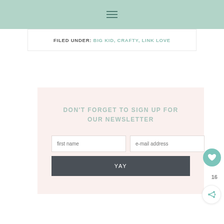≡ (hamburger menu icon)
FILED UNDER: BIG KID, CRAFTY, LINK LOVE
DON'T FORGET TO SIGN UP FOR OUR NEWSLETTER